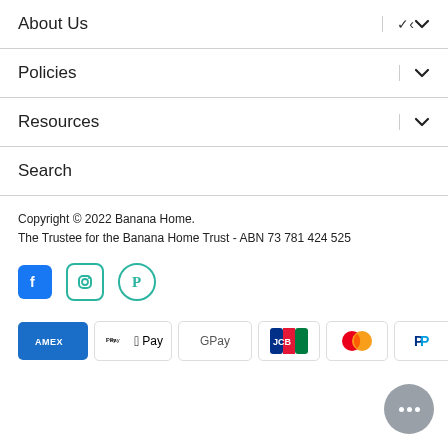About Us
Policies
Resources
Search
Copyright © 2022 Banana Home.
The Trustee for the Banana Home Trust - ABN 73 781 424 525
[Figure (illustration): Social media icons: Facebook, Instagram, Pinterest in teal/dark teal style]
[Figure (illustration): Payment method icons: Amex, Apple Pay, Google Pay, JCB, Mastercard, PayPal, OPay, Visa]